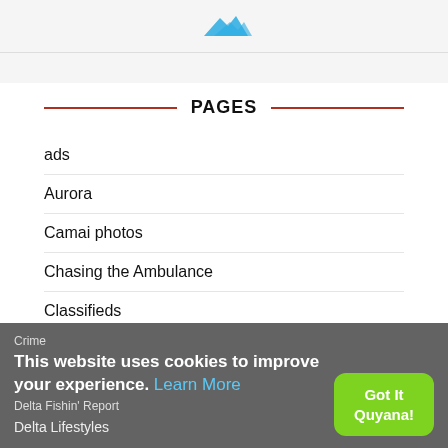[Figure (illustration): Partial view of a logo or graphic with blue bird/arrow shapes on white background]
PAGES
ads
Aurora
Camai photos
Chasing the Ambulance
Classifieds
Contributors
Cop Shop
Crime
Delta Fishin' Report
Delta Lifestyles
This website uses cookies to improve your experience. Learn More
Got It Quyana!